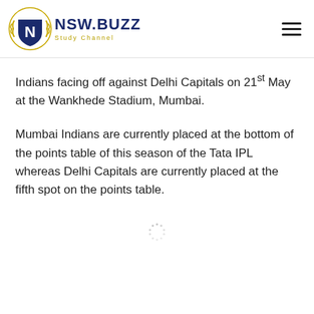NSW.BUZZ Study Channel
Indians facing off against Delhi Capitals on 21st May at the Wankhede Stadium, Mumbai.
Mumbai Indians are currently placed at the bottom of the points table of this season of the Tata IPL whereas Delhi Capitals are currently placed at the fifth spot on the points table.